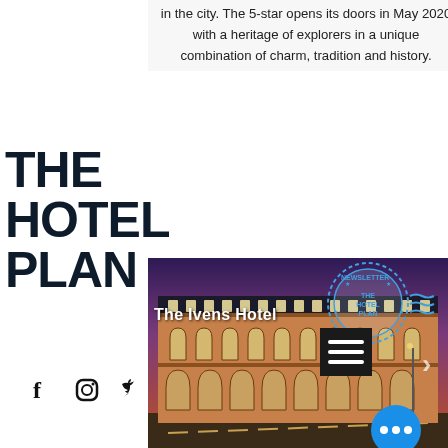in the city. The 5-star opens its doors in May 2020 with a heritage of explorers in a unique combination of charm, tradition and history.
THE HOTEL PLAN
[Figure (photo): Exterior night photo of The Ivens Hotel, a historic multi-story building with arched windows illuminated at dusk, with a newsletter stamp badge overlay, hamburger menu button, arrow navigation, and blue dots button]
The Ivens Hotel
[Figure (logo): Social media icons: Facebook (f), Instagram, Twitter bird icons]